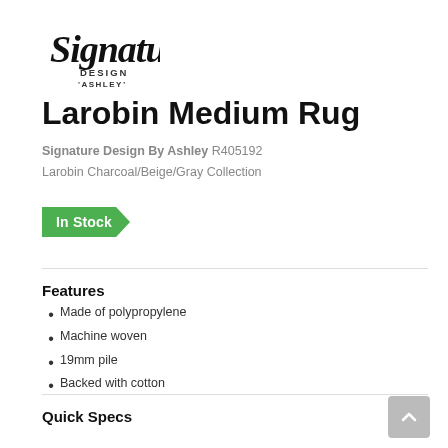[Figure (logo): Signature Design by Ashley logo — cursive 'Signature' script above smaller text 'DESIGN BY ASHLEY']
Larobin Medium Rug
Signature Design By Ashley R405192
Larobin Charcoal/Beige/Gray Collection
In Stock
Features
Made of polypropylene
Machine woven
19mm pile
Backed with cotton
Quick Specs